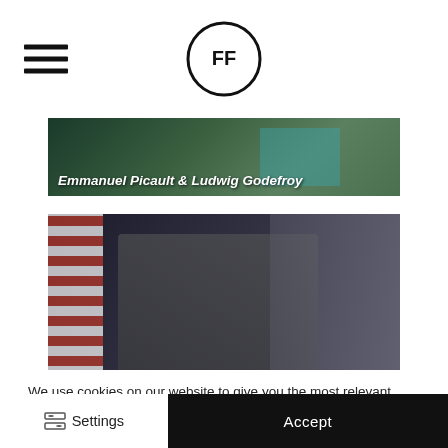FF (logo)
[Figure (photo): Photo of Emmanuel Picault & Ludwig Godefroy, dark green background with teal element]
Emmanuel Picault & Ludwig Godefroy
[Figure (photo): Photo of filmmaker Glenn Kitson seated in a cluttered room with an American flag on the left]
There’s always tomorrow: sobriety and creative fulfillment with filmmaker Glenn Kitson
We use cookies on our website to give you the most relevant experience by remembering your preferences and repeat visits. By clicking “Accept”, you consent to the use of ALL the cookies.